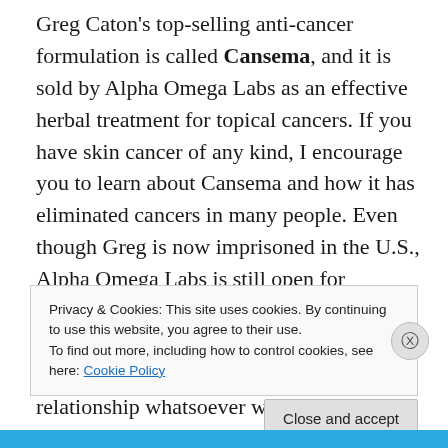Greg Caton's top-selling anti-cancer formulation is called Cansema, and it is sold by Alpha Omega Labs as an effective herbal treatment for topical cancers. If you have skin cancer of any kind, I encourage you to learn about Cansema and how it has eliminated cancers in many people. Even though Greg is now imprisoned in the U.S., Alpha Omega Labs is still open for business, and you can purchase Cansema online right now at www.AltCancer.com (note: NaturalNews has no financial relationship whatsoever with Alpha Omega Labs or Greg
Privacy & Cookies: This site uses cookies. By continuing to use this website, you agree to their use. To find out more, including how to control cookies, see here: Cookie Policy